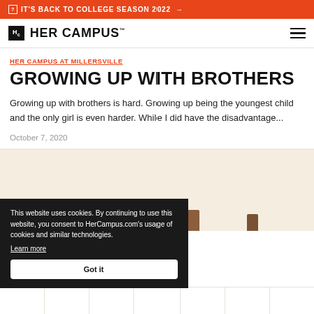IT'S BACK TO COLLEGE SEASON 2022 →
[Figure (logo): Her Campus logo with Hc icon and wordmark]
HER CAMPUS AT MILLERSVILLE
GROWING UP WITH BROTHERS
Growing up with brothers is hard. Growing up being the youngest child and the only girl is even harder. While I did have the disadvantage...
October 7, 2020
[Figure (illustration): Partial illustration showing figures at bottom of page]
This website uses cookies. By continuing to use this website, you consent to HerCampus.com's usage of cookies and similar technologies. Learn more Got it